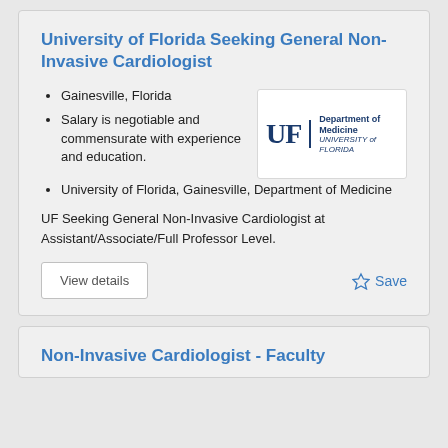University of Florida Seeking General Non-Invasive Cardiologist
Gainesville, Florida
Salary is negotiable and commensurate with experience and education.
University of Florida, Gainesville, Department of Medicine
[Figure (logo): UF Department of Medicine, University of Florida logo]
UF Seeking General Non-Invasive Cardiologist at Assistant/Associate/Full Professor Level.
Non-Invasive Cardiologist - Faculty